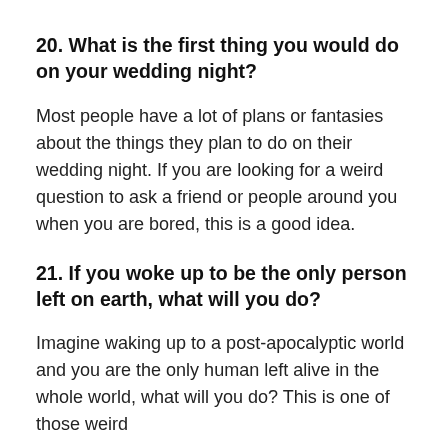20. What is the first thing you would do on your wedding night?
Most people have a lot of plans or fantasies about the things they plan to do on their wedding night. If you are looking for a weird question to ask a friend or people around you when you are bored, this is a good idea.
21. If you woke up to be the only person left on earth, what will you do?
Imagine waking up to a post-apocalyptic world and you are the only human left alive in the whole world, what will you do? This is one of those weird